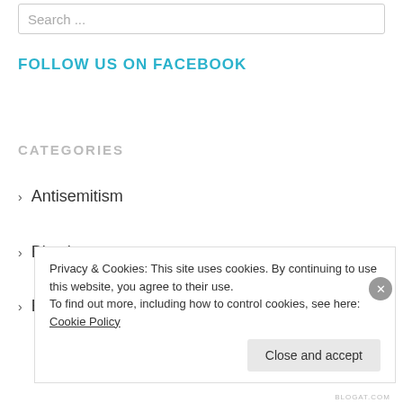Search ...
FOLLOW US ON FACEBOOK
CATEGORIES
Antisemitism
Bitachon
Book of Job/Sefer Iyov
Holidays
Privacy & Cookies: This site uses cookies. By continuing to use this website, you agree to their use. To find out more, including how to control cookies, see here: Cookie Policy
Close and accept